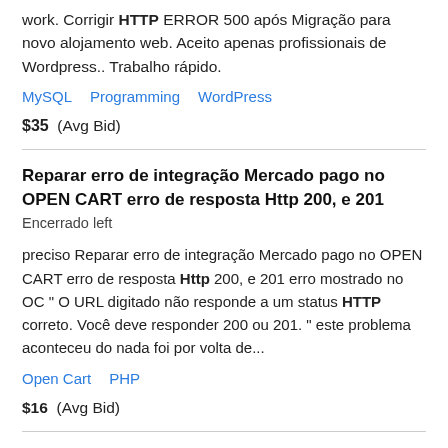work. Corrigir HTTP ERROR 500 após Migração para novo alojamento web. Aceito apenas profissionais de Wordpress.. Trabalho rápido.
MySQL   Programming   WordPress
$35  (Avg Bid)
Reparar erro de integração Mercado pago no OPEN CART erro de resposta Http 200, e 201
Encerrado left
preciso Reparar erro de integração Mercado pago no OPEN CART erro de resposta Http 200, e 201 erro mostrado no OC " O URL digitado não responde a um status HTTP correto. Você deve responder 200 ou 201. " este problema aconteceu do nada foi por volta de...
Open Cart   PHP
$16  (Avg Bid)